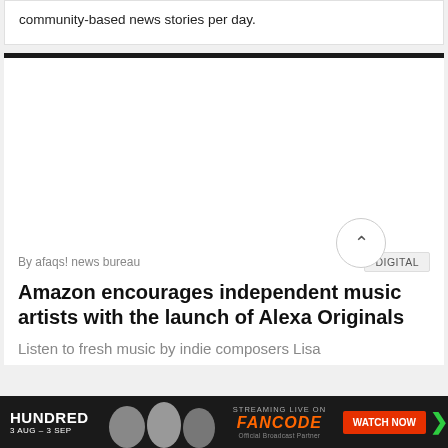community-based news stories per day.
[Figure (photo): Empty white article image area]
By afaqs! news bureau
DIGITAL
Amazon encourages independent music artists with the launch of Alexa Originals
Listen to fresh music by indie composers Lisa
[Figure (other): The Hundred cricket ad banner with FanCode streaming and Watch Now button]